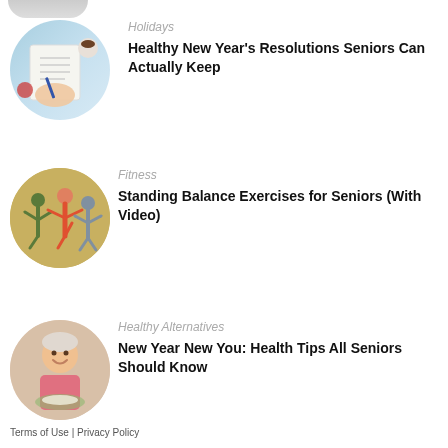[Figure (photo): Partial circular image at top of page, partially cropped]
[Figure (photo): Circular photo of hands writing New Year's Resolutions in a notebook with coffee and Christmas decorations]
Holidays
Healthy New Year's Resolutions Seniors Can Actually Keep
[Figure (photo): Circular photo of seniors doing standing balance exercises together outdoors]
Fitness
Standing Balance Exercises for Seniors (With Video)
[Figure (photo): Circular photo of a senior woman in pink shirt smiling at a meal]
Healthy Alternatives
New Year New You: Health Tips All Seniors Should Know
Terms of Use | Privacy Policy